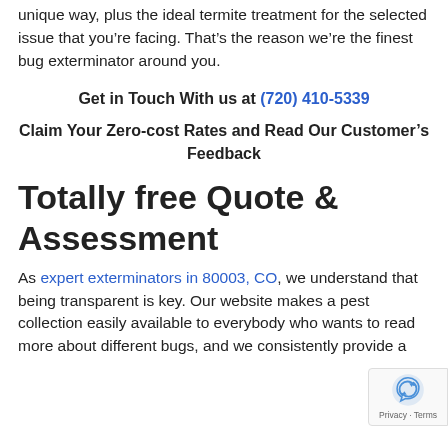unique way, plus the ideal termite treatment for the selected issue that you’re facing. That’s the reason we’re the finest bug exterminator around you.
Get in Touch With us at (720) 410-5339
Claim Your Zero-cost Rates and Read Our Customer’s Feedback
Totally free Quote & Assessment
As expert exterminators in 80003, CO, we understand that being transparent is key. Our website makes a pest collection easily available to everybody who wants to read more about different bugs, and we consistently provide a